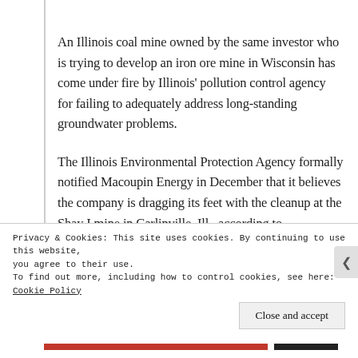An Illinois coal mine owned by the same investor who is trying to develop an iron ore mine in Wisconsin has come under fire by Illinois' pollution control agency for failing to adequately address long-standing groundwater problems.
The Illinois Environmental Protection Agency formally notified Macoupin Energy in December that it believes the company is dragging its feet with the cleanup at the Shay I mine in Carlinville, Ill., according to government documents.
Privacy & Cookies: This site uses cookies. By continuing to use this website, you agree to their use.
To find out more, including how to control cookies, see here: Cookie Policy
Close and accept